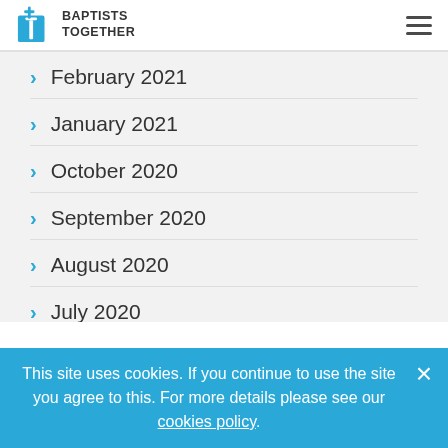Baptists Together
February 2021
January 2021
October 2020
September 2020
August 2020
July 2020
June 2020
This site uses cookies. If you continue to use the site you agree to this. For more details please see our cookies policy.